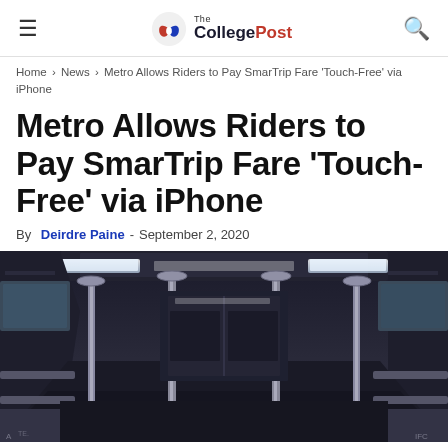The CollegePost
Home > News > Metro Allows Riders to Pay SmarTrip Fare ‘Touch-Free’ via iPhone
Metro Allows Riders to Pay SmarTrip Fare ‘Touch-Free’ via iPhone
By Deirdre Paine - September 2, 2020
[Figure (photo): Interior of an empty metro/subway train car viewed from the aisle, showing silver handrails, overhead lighting, and dark paneling. Low angle perspective looking toward the end of the car.]